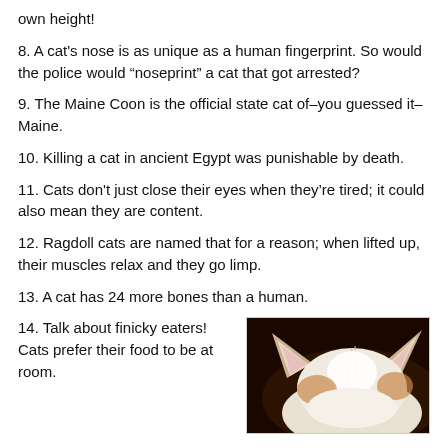own height!
8. A cat's nose is as unique as a human fingerprint. So would the police would “noseprint” a cat that got arrested?
9. The Maine Coon is the official state cat of–you guessed it–Maine.
10. Killing a cat in ancient Egypt was punishable by death.
11. Cats don't just close their eyes when they’re tired; it could also mean they are content.
12. Ragdoll cats are named that for a reason; when lifted up, their muscles relax and they go limp.
13. A cat has 24 more bones than a human.
14. Talk about finicky eaters! Cats prefer their food to be at room.
[Figure (photo): Close-up photo of a white and orange cat's head/ears viewed from above, on a dark brown background, with a teal X close button in the bottom-right corner.]